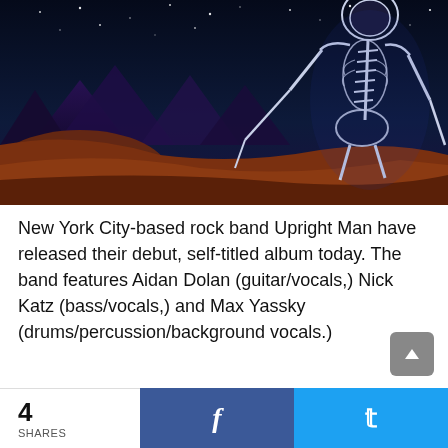[Figure (illustration): Album cover art showing a skeleton viewed from behind, reaching toward a desert landscape with mountains and a starry night sky. Dark blues and warm browns/reds dominate.]
New York City-based rock band Upright Man have released their debut, self-titled album today. The band features Aidan Dolan (guitar/vocals,) Nick Katz (bass/vocals,) and Max Yassky (drums/percussion/background vocals.)